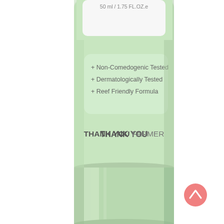[Figure (photo): A light green cosmetic tube (Thank You Farmer brand, 50 ml / 1.75 FL.OZ.e) showing the lower portion of the tube body with a rounded label panel listing: + Non-Comedogenic Tested, + Dermatologically Tested, + Reef Friendly Formula, and the brand name THANK YOU FARMER in bold/regular mixed weight text. Below the tube body is a larger cylindrical metallic light-green cap/base with a gradient sheen. A pink circular scroll-up button with a chevron icon is visible at the bottom right. Background is white.]